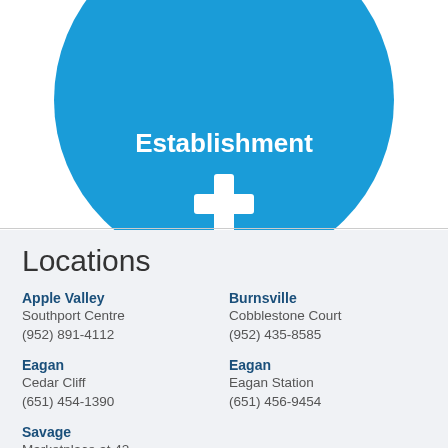[Figure (logo): Blue circle with white medical cross/plus icon and bold white text 'Establishment' at top]
Locations
Apple Valley
Southport Centre
(952) 891-4112
Burnsville
Cobblestone Court
(952) 435-8585
Eagan
Cedar Cliff
(651) 454-1390
Eagan
Eagan Station
(651) 456-9454
Savage
Marketplace at 42
(952) 226-5310